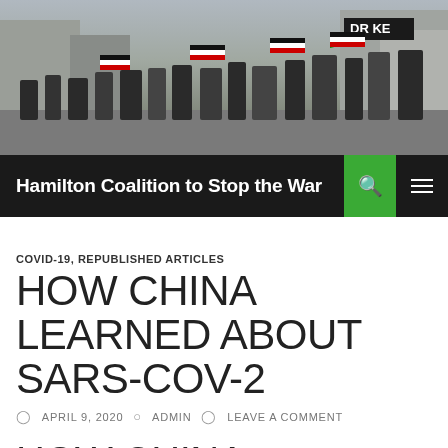[Figure (photo): Street protest scene with crowd of people waving Palestinian flags on a rainy city street, tall buildings visible in background including a Drake sign]
Hamilton Coalition to Stop the War
COVID-19, REPUBLISHED ARTICLES
HOW CHINA LEARNED ABOUT SARS-COV-2
APRIL 9, 2020  ADMIN  LEAVE A COMMENT
HOW CHINA LEARNED ABOUT SARS-COV-2 IN THE WEEKS BEFORE THE